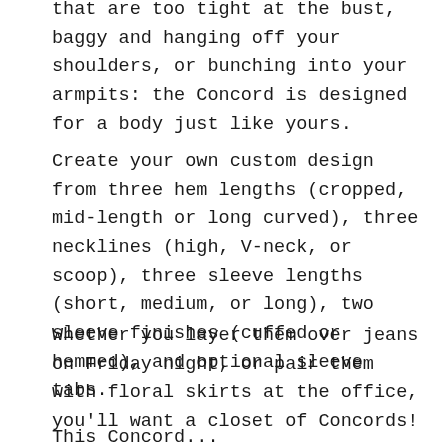that are too tight at the bust, baggy and hanging off your shoulders, or bunching into your armpits: the Concord is designed for a body just like yours.
Create your own custom design from three hem lengths (cropped, mid-length or long curved), three necklines (high, V-neck, or scoop), three sleeve lengths (short, medium, or long), two sleeve finishes (cuffed or hemmed), and optional sleeve tabs.
Whether you layer them over jeans on Friday night, or pair them with floral skirts at the office, you'll want a closet of Concords!
This Concord...